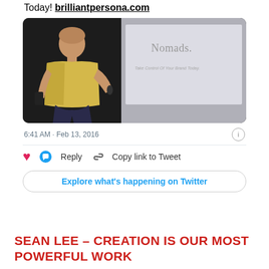Today! brilliantpersona.com
[Figure (photo): A man in a yellow t-shirt holding a microphone and presenting in front of a projection screen that reads 'Nomads. Take Control Of Your Brand Today.']
6:41 AM · Feb 13, 2016
Reply   Copy link to Tweet
Explore what's happening on Twitter
SEAN LEE – CREATION IS OUR MOST POWERFUL WORK